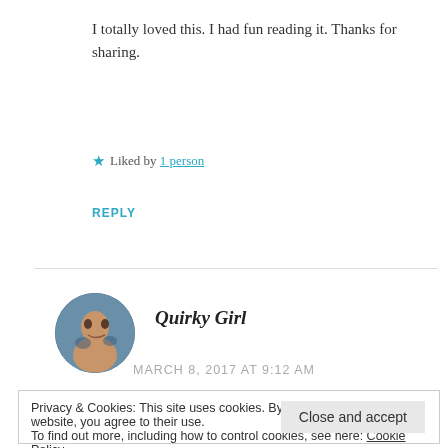I totally loved this. I had fun reading it. Thanks for sharing.
★ Liked by 1 person
REPLY
Quirky Girl
MARCH 8, 2017 AT 9:12 AM
Privacy & Cookies: This site uses cookies. By continuing to use this website, you agree to their use.
To find out more, including how to control cookies, see here: Cookie Policy
Close and accept